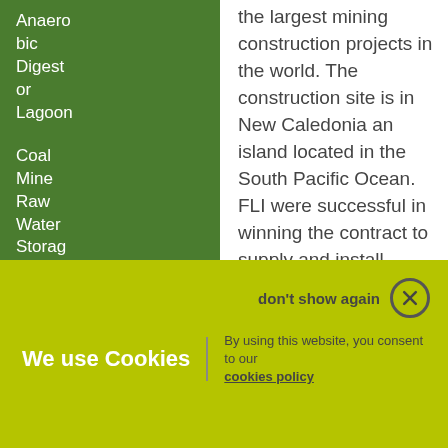Anaerobic Digester or Lagoon
Coal Mine Raw Water Storage Ponds
the largest mining construction projects in the world. The construction site is in New Caledonia an island located in the South Pacific Ocean. FLI were successful in winning the contract to supply and install geosynthethic lining systems for a large tailing storage facility. The contract also included ancillary lining works around the site such as supply and installation of HDPE and rubber lining for onsite ponds and complex circular counter current decantation tanks floors with leak detection
don't show again
We use Cookies
By using this website, you consent to our cookies policy